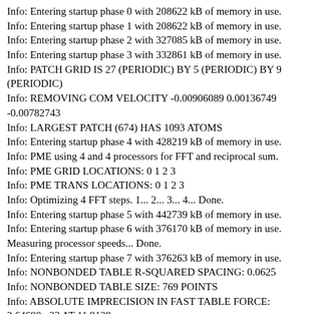Info: Entering startup phase 0 with 208622 kB of memory in use.
Info: Entering startup phase 1 with 208622 kB of memory in use.
Info: Entering startup phase 2 with 327085 kB of memory in use.
Info: Entering startup phase 3 with 332861 kB of memory in use.
Info: PATCH GRID IS 27 (PERIODIC) BY 5 (PERIODIC) BY 9 (PERIODIC)
Info: REMOVING COM VELOCITY -0.00906089 0.00136749 -0.00782743
Info: LARGEST PATCH (674) HAS 1093 ATOMS
Info: Entering startup phase 4 with 428219 kB of memory in use.
Info: PME using 4 and 4 processors for FFT and reciprocal sum.
Info: PME GRID LOCATIONS: 0 1 2 3
Info: PME TRANS LOCATIONS: 0 1 2 3
Info: Optimizing 4 FFT steps. 1... 2... 3... 4... Done.
Info: Entering startup phase 5 with 442739 kB of memory in use.
Info: Entering startup phase 6 with 376170 kB of memory in use.
Measuring processor speeds... Done.
Info: Entering startup phase 7 with 376263 kB of memory in use.
Info: NONBONDED TABLE R-SQUARED SPACING: 0.0625
Info: NONBONDED TABLE SIZE: 769 POINTS
Info: ABSOLUTE IMPRECISION IN FAST TABLE FORCE: 2.64698e-23 AT 11.9138
Info: RELATIVE IMPRECISION IN FAST TABLE FORCE: 1.40436e-16 AT 11.9138
Info: ABSOLUTE IMPRECISION IN SCOR TABLE FORCE: